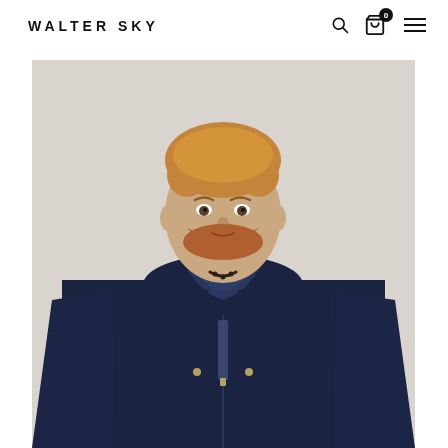WALTER SKY
[Figure (photo): Man wearing a navy blue zip-up hoodie with drawstrings, standing against a light grey/beige background. The model has short blonde-reddish hair and a beard. The hoodie features a full-length zipper, kangaroo pocket area, and gold-tone zipper pulls. The model is shown from approximately the waist up.]